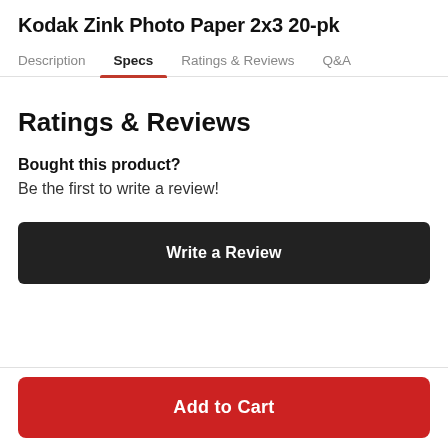Kodak Zink Photo Paper 2x3 20-pk
Description | Specs | Ratings & Reviews | Q&A
Ratings & Reviews
Bought this product?
Be the first to write a review!
Write a Review
Add to Cart